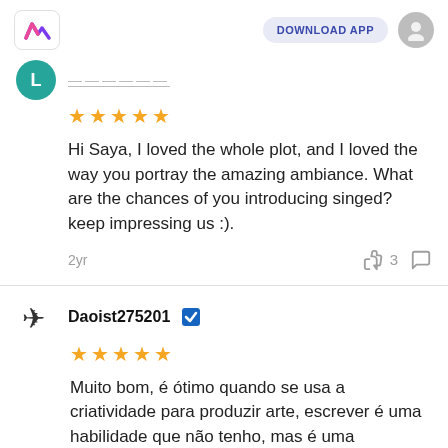DOWNLOAD APP
[Figure (illustration): Green circular avatar with letter L, partially cropped at top. Username text blurred/obscured.]
[Figure (illustration): Five orange star rating]
Hi Saya, I loved the whole plot, and I loved the way you portray the amazing ambiance. What are the chances of you introducing singed?
keep impressing us :).
2yr   3
Daoist275201
[Figure (illustration): Five orange star rating]
Muito bom, é ótimo quando se usa a criatividade para produzir arte, escrever é uma habilidade que não tenho, mas é uma